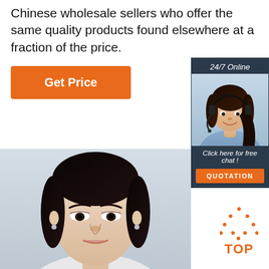Chinese wholesale sellers who offer the same quality products found elsewhere at a fraction of the price.
[Figure (other): Orange 'Get Price' button]
[Figure (other): Live chat widget with '24/7 Online' header, female agent with headset photo, 'Click here for free chat!' text, and orange 'QUOTATION' button]
[Figure (photo): Close-up photo of an Asian woman's face against a light gray background]
[Figure (other): Orange 'TOP' button with dotted triangle icon above it]